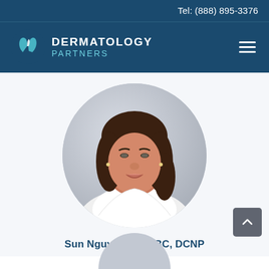Tel: (888) 895-3376
[Figure (logo): Dermatology Partners logo with teal leaf/heart icon and white text reading DERMATOLOGY PARTNERS on dark blue background]
[Figure (photo): Circular portrait photo of Sun Nguyen, FNP-BC, DCNP – a woman with long brown hair wearing a white coat, smiling, on a light grey background]
Sun Nguyen, FNP-BC, DCNP